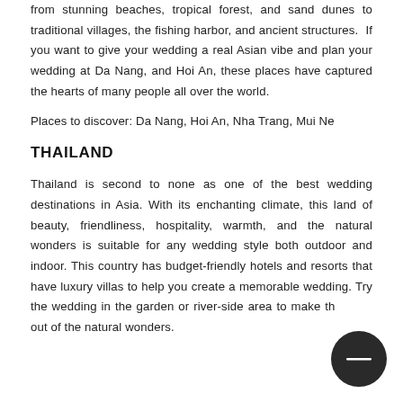from stunning beaches, tropical forest, and sand dunes to traditional villages, the fishing harbor, and ancient structures. If you want to give your wedding a real Asian vibe and plan your wedding at Da Nang, and Hoi An, these places have captured the hearts of many people all over the world.
Places to discover: Da Nang, Hoi An, Nha Trang, Mui Ne
THAILAND
Thailand is second to none as one of the best wedding destinations in Asia. With its enchanting climate, this land of beauty, friendliness, hospitality, warmth, and the natural wonders is suitable for any wedding style both outdoor and indoor. This country has budget-friendly hotels and resorts that have luxury villas to help you create a memorable wedding. Try the wedding in the garden or river-side area to make the most out of the natural wonders.